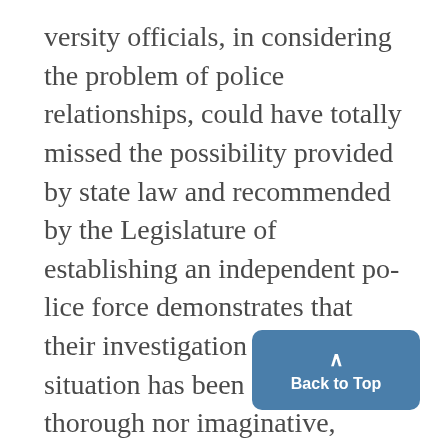versity officials, in considering the problem of police relationships, could have totally missed the possibility provided by state law and recommended by the Legislature of establishing an independent police force demonstrates that their investigation of the situation has been neither thorough nor imaginative, For a representative of the University to decline comment when informed of a new possible solution was frankly irresponsible. The University is a rapidly changing institution and its problems require more